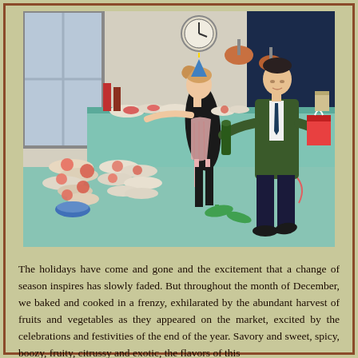[Figure (illustration): A vintage 1950s-style illustration depicting a chaotic holiday kitchen scene. A woman in a black dress and party hat leans over a counter covered in dishes and food, while a man in a suit holds gifts. The kitchen is in disarray with food items scattered on the floor.]
The holidays have come and gone and the excitement that a change of season inspires has slowly faded. But throughout the month of December, we baked and cooked in a frenzy, exhilarated by the abundant harvest of fruits and vegetables as they appeared on the market, excited by the celebrations and festivities of the end of the year. Savory and sweet, spicy, boozy, fruity, citrussy and exotic, the flavors of this